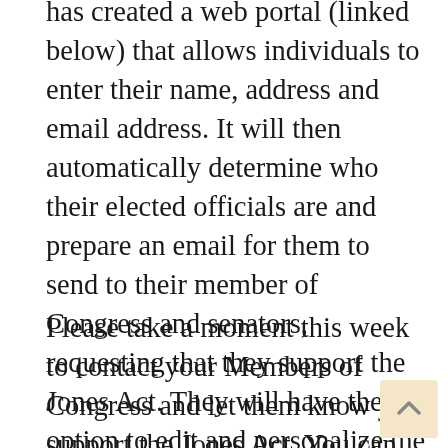has created a web portal (linked below) that allows individuals to enter their name, address and email address. It will then automatically determine who their elected officials are and prepare an email for them to send to their member of Congress and senators, requesting that they support the Jones Act. They will have the option to edit and personalize the message, or they can simply send it as is. The whole process can be completed in about a minute.
Please take a moment this week to contact your Members of Congress and let them know you support the Jones Act. You can do that simply by